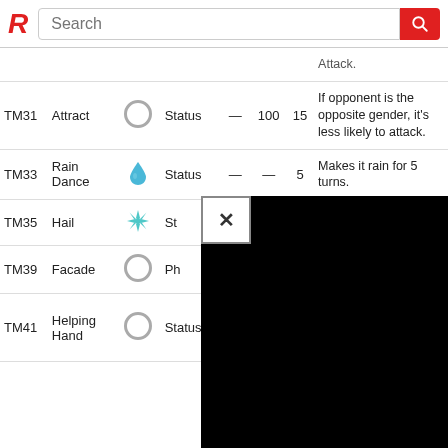[Figure (screenshot): Search bar with red R logo and search button]
| TM | Name | Icon | Type | Power | Acc | PP | Description |
| --- | --- | --- | --- | --- | --- | --- | --- |
|  |  |  |  |  |  |  | Attack. |
| TM31 | Attract |  | Status | — | 100 | 15 | If opponent is the opposite gender, it's less likely to attack. |
| TM33 | Rain Dance |  | Status | — | — | 5 | Makes it rain for 5 turns. |
| TM35 | Hail |  | St… |  |  |  | Non-Ice types… |
| TM39 | Facade |  | Ph… |  |  |  |  |
| TM41 | Helping Hand |  | Status | — | — | 20 | In Double Battles, boosts the power of the |